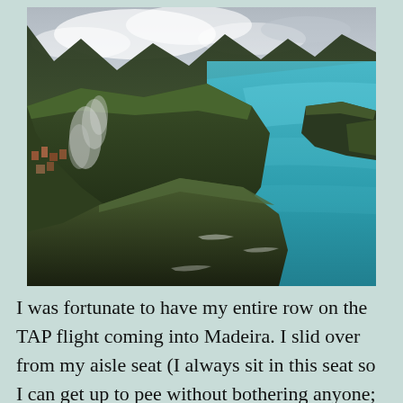[Figure (photo): Aerial photograph of Madeira island coastline showing dramatic green cliffs, a small coastal town with smoke rising, and vivid turquoise/blue ocean water with rocky headlands and clouds over the mountains.]
I was fortunate to have my entire row on the TAP flight coming into Madeira. I slid over from my aisle seat (I always sit in this seat so I can get up to pee without bothering anyone; I pee